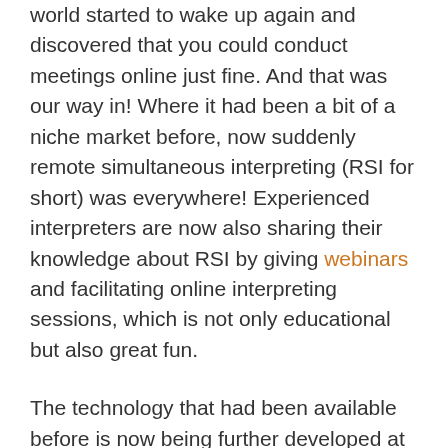world started to wake up again and discovered that you could conduct meetings online just fine. And that was our way in! Where it had been a bit of a niche market before, now suddenly remote simultaneous interpreting (RSI for short) was everywhere! Experienced interpreters are now also sharing their knowledge about RSI by giving webinars and facilitating online interpreting sessions, which is not only educational but also great fun.
The technology that had been available before is now being further developed at lightning speed: there are stand-alone interpreting platforms (eg, VoiceBoxer) or platforms that can be incorporated into meeting software such as Zoom (which has its own interpretation option too). This means that tech-savvy commercial